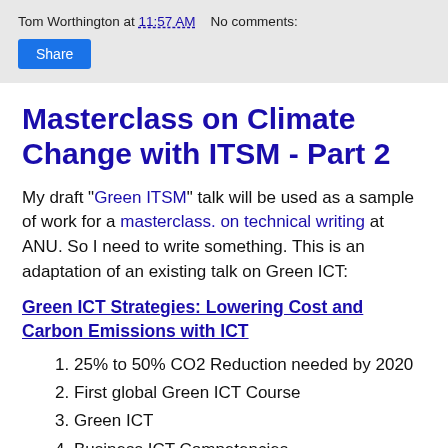Tom Worthington at 11:57 AM    No comments:
Share
Masterclass on Climate Change with ITSM - Part 2
My draft "Green ITSM" talk will be used as a sample of work for a masterclass. on technical writing at ANU. So I need to write something. This is an adaptation of an existing talk on Green ICT:
Green ICT Strategies: Lowering Cost and Carbon Emissions with ICT
25% to 50% CO2 Reduction needed by 2020
First global Green ICT Course
Green ICT
Business ICT Competencies
Learning by Doing